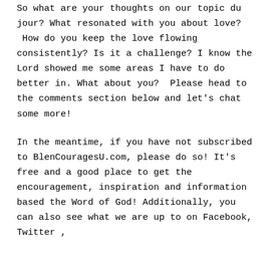So what are your thoughts on our topic du jour? What resonated with you about love?  How do you keep the love flowing consistently? Is it a challenge? I know the Lord showed me some areas I have to do better in. What about you?  Please head to the comments section below and let's chat some more!
In the meantime, if you have not subscribed to BlenCouragesU.com, please do so! It's free and a good place to get the encouragement, inspiration and information based the Word of God! Additionally, you can also see what we are up to on Facebook, Twitter ,